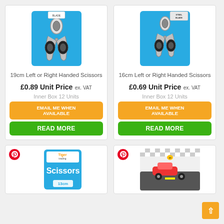[Figure (photo): 19cm scissors on blue card background]
19cm Left or Right Handed Scissors
£0.89 Unit Price ex. VAT
Inner Box 12 Units
EMAIL ME WHEN AVAILABLE
READ MORE
[Figure (photo): 16cm scissors on blue card background with Steel Blade label]
16cm Left or Right Handed Scissors
£0.69 Unit Price ex. VAT
Inner Box 12 Units
EMAIL ME WHEN AVAILABLE
READ MORE
[Figure (photo): Tiger Scissors 13cm product on card packaging]
[Figure (photo): Children's scissors with car racing theme packaging]